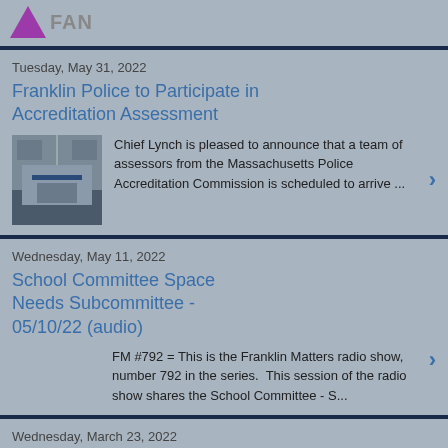[Figure (logo): Purple triangle logo with text 'FAN' partially visible]
Tuesday, May 31, 2022
Franklin Police to Participate in Accreditation Assessment
[Figure (photo): Photo of Franklin Police building exterior with sign]
Chief Lynch is pleased to announce that a team of assessors from the Massachusetts Police Accreditation Commission is scheduled to arrive ...
Wednesday, May 11, 2022
School Committee Space Needs Subcommittee - 05/10/22 (audio)
FM #792 = This is the Franklin Matters radio show, number 792 in the series.  This session of the radio show shares the School Committee - S...
Wednesday, March 23, 2022